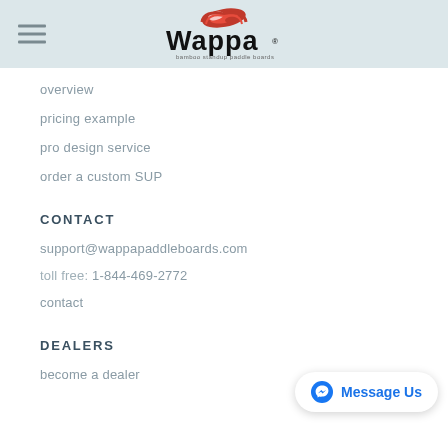Wappa — bamboo standup paddle boards
overview
pricing example
pro design service
order a custom SUP
CONTACT
support@wappapaddleboards.com
toll free:  1-844-469-2772
contact
DEALERS
become a dealer